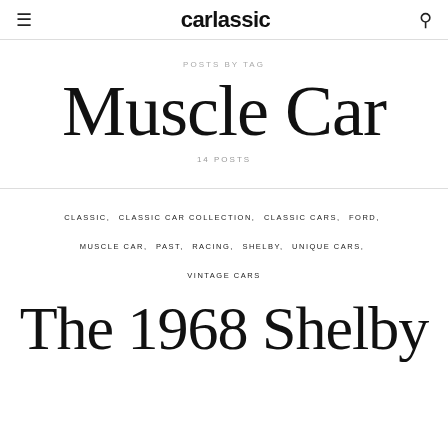carlassic
POSTS BY TAG
Muscle Car
14 POSTS
CLASSIC, CLASSIC CAR COLLECTION, CLASSIC CARS, FORD, MUSCLE CAR, PAST, RACING, SHELBY, UNIQUE CARS, VINTAGE CARS
The 1968 Shelby